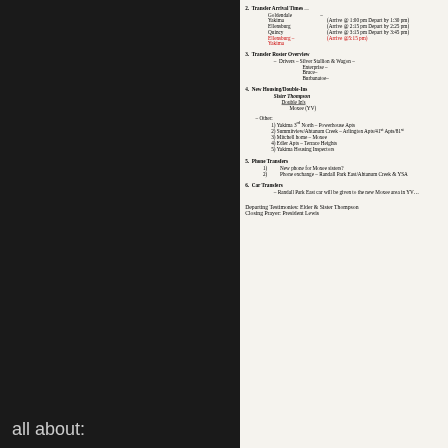2. Transfer Arrival Times (partial) - Goldendale, Yakima (Arrive @ 1:00 pm Depart by 1:30 pm), Ellensburg (Arrive @ 2:15 pm Depart by 2:25 pm), Quincy (Arrive @ 3:15 pm Depart by 3:45 pm), Ellensburg – Yakima (Arrive @5:15 pm) [red text]
3. Transfer Roster Overview - Drivers – Silver Stallion & Wagon – Enterprise – Bruce – Burbanatoe – Elder Van De Venter, Elder Taele, Elder Cannon, Elder Call
4. New Housing/Double-Ins - Sister Thompson, Double In's, Moxee (YV), Closing Areas
Other: 1) Yakima 3rd North - Powerhouse Apts, 2) Summitview/Ahtanum Creek – Arlington Apts/41st Apts/81st, 3) Mitchell home – Moxee, 4) Edler Apts – Terrace Heights, 5) Yakima Housing Inspectors
5. Phone Transfers: 1) New phone for Moxee sisters? 2) Phone exchange – Randall Park East/Ahtanum Creek & YSA
6. Car Transfers: Randall Park East car will be given to the new Moxee area in YV
Departing Testimonies: Elder & Sister Thompson
Closing Prayer: President Lewis
all about: